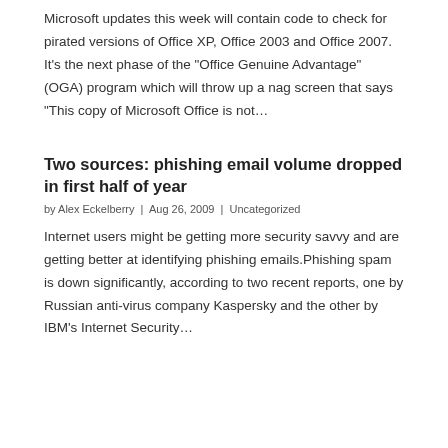Microsoft updates this week will contain code to check for pirated versions of Office XP, Office 2003 and Office 2007. It’s the next phase of the “Office Genuine Advantage” (OGA) program which will throw up a nag screen that says “This copy of Microsoft Office is not…
Two sources: phishing email volume dropped in first half of year
by Alex Eckelberry | Aug 26, 2009 | Uncategorized
Internet users might be getting more security savvy and are getting better at identifying phishing emails.Phishing spam is down significantly, according to two recent reports, one by Russian anti-virus company Kaspersky and the other by IBM’s Internet Security…